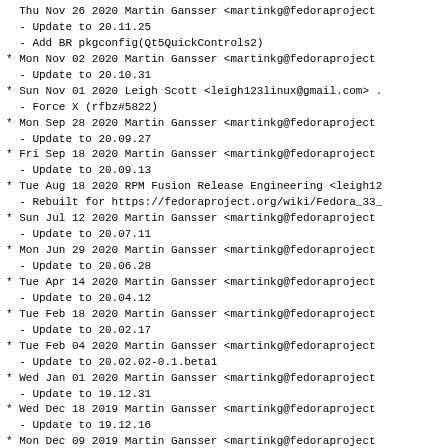Thu Nov 26 2020 Martin Gansser <martinkg@fedoraproject...
- Update to 20.11.25
- Add BR pkgconfig(Qt5QuickControls2)
* Mon Nov 02 2020 Martin Gansser <martinkg@fedoraproject...
- Update to 20.10.31
* Sun Nov 01 2020 Leigh Scott <leigh123linux@gmail.com> ...
- Force X (rfbz#5822)
* Mon Sep 28 2020 Martin Gansser <martinkg@fedoraproject...
- Update to 20.09.27
* Fri Sep 18 2020 Martin Gansser <martinkg@fedoraproject...
- Update to 20.09.13
* Tue Aug 18 2020 RPM Fusion Release Engineering <leigh12...
- Rebuilt for https://fedoraproject.org/wiki/Fedora_33_
* Sun Jul 12 2020 Martin Gansser <martinkg@fedoraproject...
- Update to 20.07.11
* Mon Jun 29 2020 Martin Gansser <martinkg@fedoraproject...
- Update to 20.06.28
* Tue Apr 14 2020 Martin Gansser <martinkg@fedoraproject...
- Update to 20.04.12
* Tue Feb 18 2020 Martin Gansser <martinkg@fedoraproject...
- Update to 20.02.17
* Tue Feb 04 2020 Martin Gansser <martinkg@fedoraproject...
- Update to 20.02.02-0.1.beta1
* Wed Jan 01 2020 Martin Gansser <martinkg@fedoraproject...
- Update to 19.12.31
* Wed Dec 18 2019 Martin Gansser <martinkg@fedoraproject...
- Update to 19.12.16
* Mon Dec 09 2019 Martin Gansser <martinkg@fedoraproject...
- Update to 19.12.08-0.1.beta1
* Thu Nov 07 2019 Martin Gansser <martinkg@fedoraproject...
- Update to 19.10.20